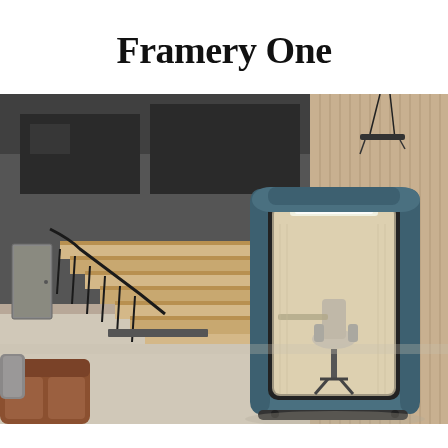Framery One
[Figure (photo): A Framery One office pod (phone booth) with teal/dark blue exterior, glass front panel, and interior chair and desk, positioned in a modern open-plan office space with wooden staircases, dark railings, concrete floors, and architectural wooden wall panels. A brown leather sofa is partially visible in the foreground left.]